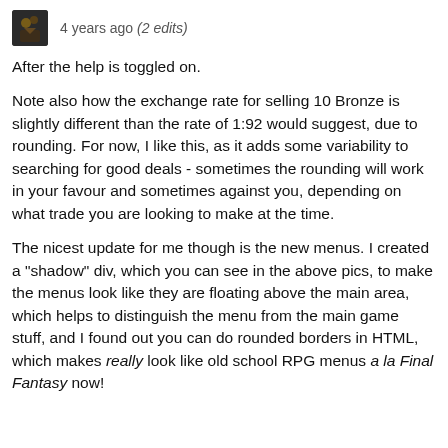4 years ago (2 edits)
After the help is toggled on.
Note also how the exchange rate for selling 10 Bronze is slightly different than the rate of 1:92 would suggest, due to rounding. For now, I like this, as it adds some variability to searching for good deals - sometimes the rounding will work in your favour and sometimes against you, depending on what trade you are looking to make at the time.
The nicest update for me though is the new menus. I created a "shadow" div, which you can see in the above pics, to make the menus look like they are floating above the main area, which helps to distinguish the menu from the main game stuff, and I found out you can do rounded borders in HTML, which makes really look like old school RPG menus a la Final Fantasy now!